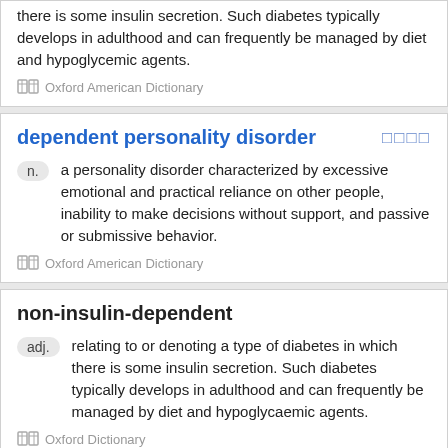there is some insulin secretion. Such diabetes typically develops in adulthood and can frequently be managed by diet and hypoglycemic agents.
Oxford American Dictionary
dependent personality disorder
n. a personality disorder characterized by excessive emotional and practical reliance on other people, inability to make decisions without support, and passive or submissive behavior.
Oxford American Dictionary
non-insulin-dependent
adj. relating to or denoting a type of diabetes in which there is some insulin secretion. Such diabetes typically develops in adulthood and can frequently be managed by diet and hypoglycaemic agents.
Oxford Dictionary